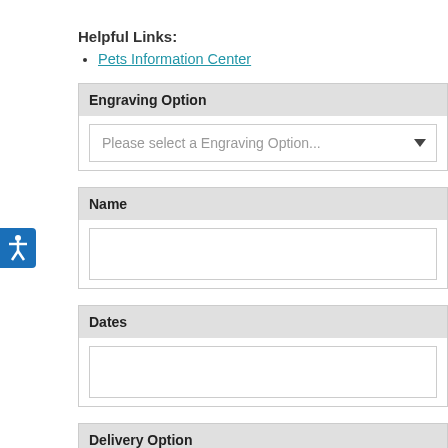Helpful Links:
Pets Information Center
Engraving Option
Please select a Engraving Option...
Name
Dates
Delivery Option
Please select a Delivery Option...
Quantity: 1
Add to Cart